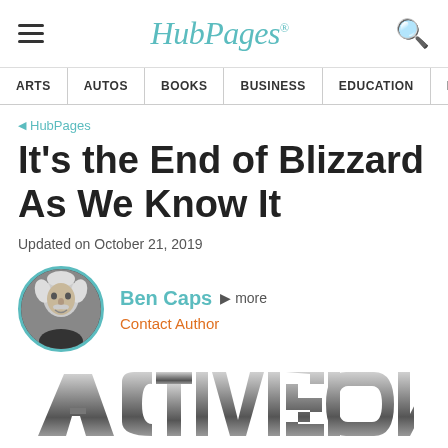HubPages
ARTS | AUTOS | BOOKS | BUSINESS | EDUCATION | ENTERTA
HubPages
It's the End of Blizzard As We Know It
Updated on October 21, 2019
Ben Caps  more  Contact Author
[Figure (logo): Activision logo in gray metallic style at bottom of page]